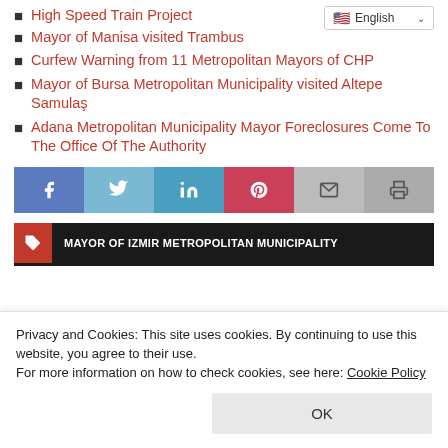High Speed Train Project
Mayor of Manisa visited Trambus
Curfew Warning from 11 Metropolitan Mayors of CHP
Mayor of Bursa Metropolitan Municipality visited Altepe Samulaş
Adana Metropolitan Municipality Mayor Foreclosures Come To The Office Of The Authority
[Figure (infographic): Social media share buttons: Facebook (blue), Twitter (light blue), LinkedIn (blue), Pinterest (red), Email (grey), Print (grey)]
MAYOR OF IZMIR METROPOLITAN MUNICIPALITY
Privacy and Cookies: This site uses cookies. By continuing to use this website, you agree to their use.
For more information on how to check cookies, see here: Cookie Policy
OK